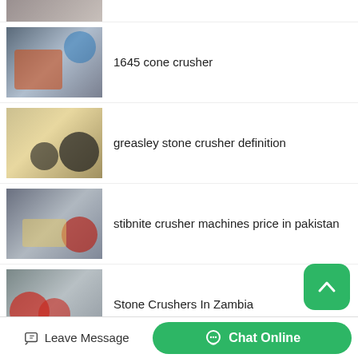[Figure (photo): Partial thumbnail of a machine at the top of the list, cropped]
[Figure (photo): Thumbnail photo of a 1645 cone crusher machine in a factory setting]
1645 cone crusher
[Figure (photo): Thumbnail photo of a greasley stone crusher machine, beige colored with large wheel]
greasley stone crusher definition
[Figure (photo): Thumbnail photo of stibnite crusher machines in a factory]
stibnite crusher machines price in pakistan
[Figure (photo): Thumbnail photo of stone crushers in Zambia]
Stone Crushers In Zambia
Leave Message   Chat Online